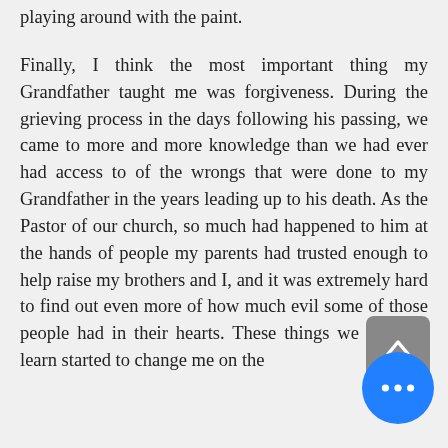playing around with the paint.
Finally, I think the most important thing my Grandfather taught me was forgiveness. During the grieving process in the days following his passing, we came to more and more knowledge than we had ever had access to of the wrongs that were done to my Grandfather in the years leading up to his death. As the Pastor of our church, so much had happened to him at the hands of people my parents had trusted enough to help raise my brothers and I, and it was extremely hard to find out even more of how much evil some of those people had in their hearts. These things we came to learn started to change me on the